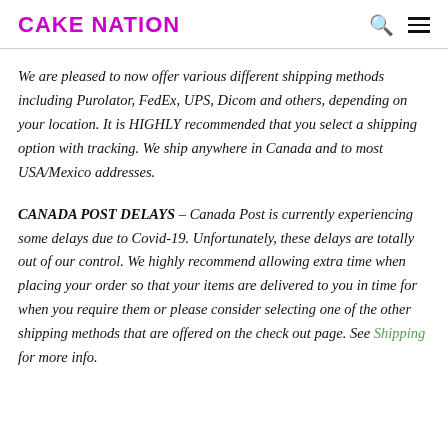CAKE NATION
We are pleased to now offer various different shipping methods including Purolator, FedEx, UPS, Dicom and others, depending on your location. It is HIGHLY recommended that you select a shipping option with tracking. We ship anywhere in Canada and to most USA/Mexico addresses.
CANADA POST DELAYS – Canada Post is currently experiencing some delays due to Covid-19. Unfortunately, these delays are totally out of our control. We highly recommend allowing extra time when placing your order so that your items are delivered to you in time for when you require them or please consider selecting one of the other shipping methods that are offered on the check out page. See Shipping for more info.